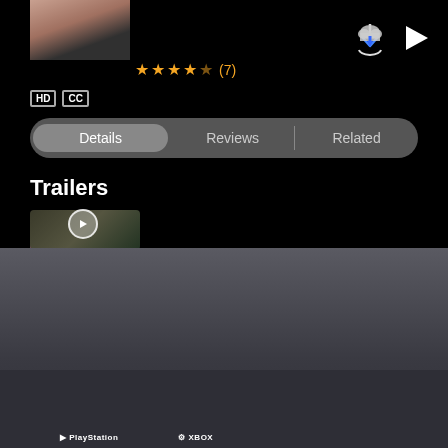[Figure (screenshot): Streaming app UI showing a movie detail page with thumbnail, star rating 4.5/7, HD and CC badges, Details/Reviews/Related tabs, and Trailers section with a video thumbnail]
[Figure (logo): Platform logos grid: Apple TV 4K, Roku Players & TVs, fire tv, Google TV, Samsung Smart TV, VIZIO, LG SMART TV, SONY, PlayStation, XBOX]